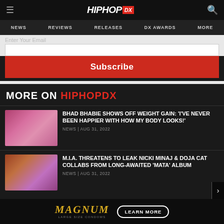HIPHOP DX
NEWS | REVIEWS | RELEASES | DX AWARDS | MORE
Enter Your Email
Subscribe
MORE ON HIPHOPDX
BHAD BHABIE SHOWS OFF WEIGHT GAIN: 'I'VE NEVER BEEN HAPPIER WITH HOW MY BODY LOOKS!'
NEWS | AUG 31, 2022
M.I.A. THREATENS TO LEAK NICKI MINAJ & DOJA CAT COLLABS FROM LONG-AWAITED 'MATA' ALBUM
NEWS | AUG 31, 2022
[Figure (advertisement): MAGNUM Large Size Condoms ad with LEARN MORE button]